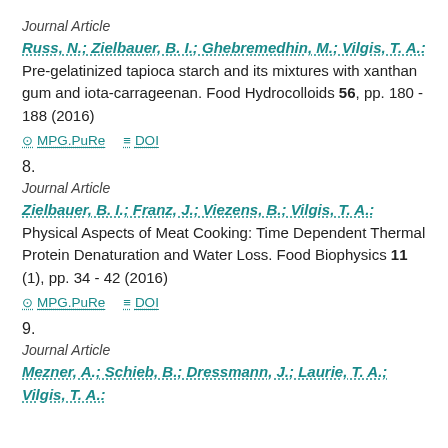Journal Article
Russ, N.; Zielbauer, B. I.; Ghebremedhin, M.; Vilgis, T. A.: Pre-gelatinized tapioca starch and its mixtures with xanthan gum and iota-carrageenan. Food Hydrocolloids 56, pp. 180 - 188 (2016)
MPG.PuRe   DOI
8.
Journal Article
Zielbauer, B. I.; Franz, J.; Viezens, B.; Vilgis, T. A.: Physical Aspects of Meat Cooking: Time Dependent Thermal Protein Denaturation and Water Loss. Food Biophysics 11 (1), pp. 34 - 42 (2016)
MPG.PuRe   DOI
9.
Journal Article
Mezner, A.; Schieb, B.; Dressmann, J.; Laurie, T. A.; Vilgis, T. A.: